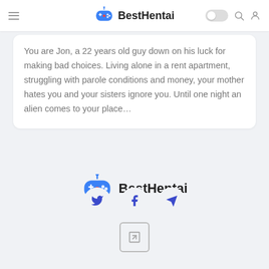BestHentai
You are Jon, a 22 years old guy down on his luck for making bad choices. Living alone in a rent apartment, struggling with parole conditions and money, your mother hates you and your sisters ignore you. Until one night an alien comes to your place…
[Figure (logo): BestHentai logo with blue gamepad icon and bold text]
[Figure (infographic): Social media icons: Twitter (bird), Facebook (f), Telegram (paper plane), and an external link icon below]